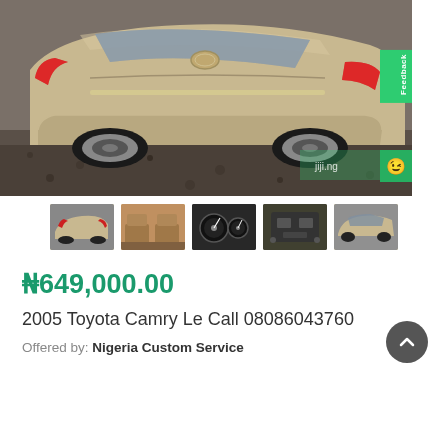[Figure (photo): Rear view of a gold/champagne 2005 Toyota Camry parked on a gravel/dirt surface. The car is shown from slightly above and behind, showing the trunk, taillights, and rear wheels.]
[Figure (photo): Row of 5 thumbnail images of the 2005 Toyota Camry: exterior rear, interior seats, dashboard/speedometer, engine bay, and exterior side view.]
₦649,000.00
2005 Toyota Camry Le Call 08086043760
Offered by: Nigeria Custom Service